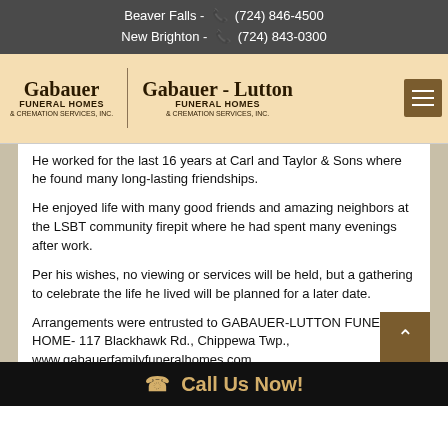Beaver Falls - (724) 846-4500
New Brighton - (724) 843-0300
[Figure (logo): Gabauer Funeral Homes & Cremation Services Inc. and Gabauer-Lutton Funeral Homes & Cremation Services Inc. logos with hamburger menu button]
He worked for the last 16 years at Carl and Taylor & Sons where he found many long-lasting friendships.
He enjoyed life with many good friends and amazing neighbors at the LSBT community firepit where he had spent many evenings after work.
Per his wishes, no viewing or services will be held, but a gathering to celebrate the life he lived will be planned for a later date.
Arrangements were entrusted to GABAUER-LUTTON FUNERAL HOME- 117 Blackhawk Rd., Chippewa Twp., www.gabauerfamilyfuneralhomes.com.
Call Us Now!